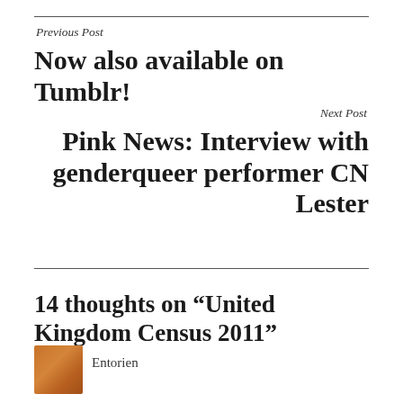Previous Post
Now also available on Tumblr!
Next Post
Pink News: Interview with genderqueer performer CN Lester
14 thoughts on “United Kingdom Census 2011”
Entorien